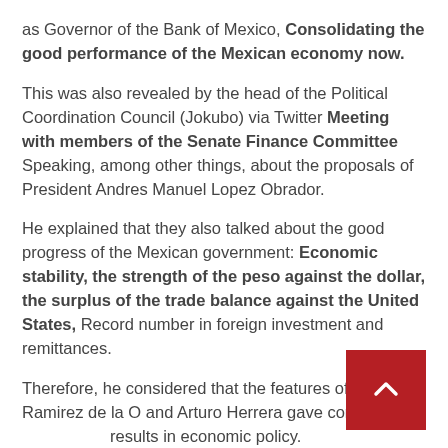as Governor of the Bank of Mexico, Consolidating the good performance of the Mexican economy now.
This was also revealed by the head of the Political Coordination Council (Jokubo) via Twitter Meeting with members of the Senate Finance Committee Speaking, among other things, about the proposals of President Andres Manuel Lopez Obrador.
He explained that they also talked about the good progress of the Mexican government: Economic stability, the strength of the peso against the dollar, the surplus of the trade balance against the United States, Record number in foreign investment and remittances.
Therefore, he considered that the features of Rogelio Ramirez de la O and Arturo Herrera gave consistent results in economic policy.